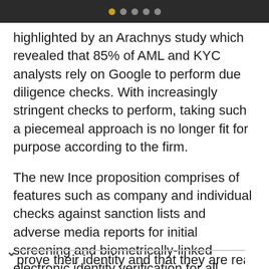• • • • •
highlighted by an Arachnys study which revealed that 85% of AML and KYC analysts rely on Google to perform due diligence checks. With increasingly stringent checks to perform, taking such a piecemeal approach is no longer fit for purpose according to the firm.
The new Ince proposition comprises of features such as company and individual checks against sanction lists and adverse media reports for initial screening and biometrically-linked electronic identity verification for all associated individuals to prove their identity and that they are real...